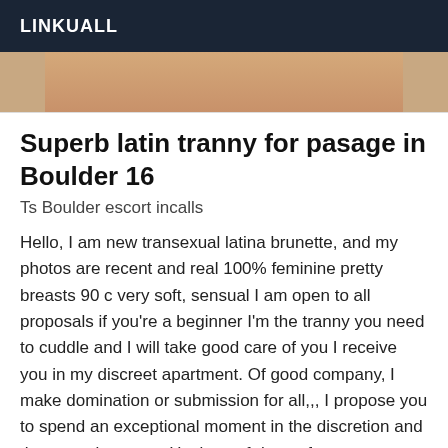LINKUALL
[Figure (photo): Partial photo at top of listing, showing cropped image]
Superb latin tranny for pasage in Boulder 16
Ts Boulder escort incalls
Hello, I am new transexual latina brunette, and my photos are recent and real 100% feminine pretty breasts 90 c very soft, sensual I am open to all proposals if you're a beginner I'm the tranny you need to cuddle and I will take good care of you I receive you in my discreet apartment. Of good company, I make domination or submission for all,,, I propose you to spend an exceptional moment in the discretion and the mutual respect. Hygiene of rigor, of course.
[Figure (photo): Photo of person at bottom of page with Online badge overlay]